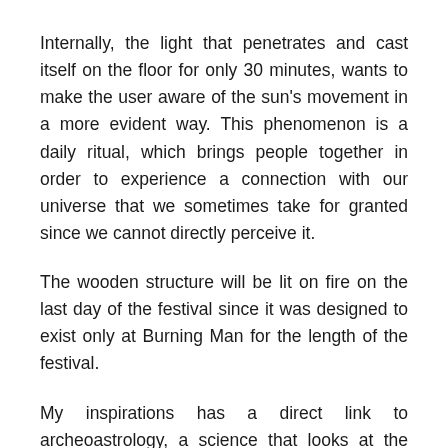Internally, the light that penetrates and cast itself on the floor for only 30 minutes, wants to make the user aware of the sun's movement in a more evident way. This phenomenon is a daily ritual, which brings people together in order to experience a connection with our universe that we sometimes take for granted since we cannot directly perceive it.
The wooden structure will be lit on fire on the last day of the festival since it was designed to exist only at Burning Man for the length of the festival.
My inspirations has a direct link to archeoastrology, a science that looks at the relationship between celestial bodies and architecture, i.e. Stonehenge, Chiceniza and the Pantheon in Rome. The sun penetrates into...